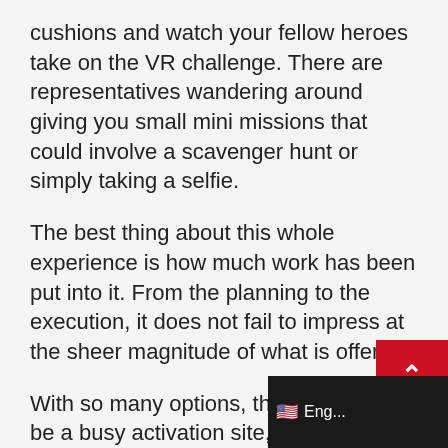cushions and watch your fellow heroes take on the VR challenge. There are representatives wandering around giving you small mini missions that could involve a scavenger hunt or simply taking a selfie.
The best thing about this whole experience is how much work has been put into it. From the planning to the execution, it does not fail to impress at the sheer magnitude of what is offered.
With so many options, this is going to be a busy activation site, so get there early. The good thing is that your analyst badge gets you in and out so you can return the next d...